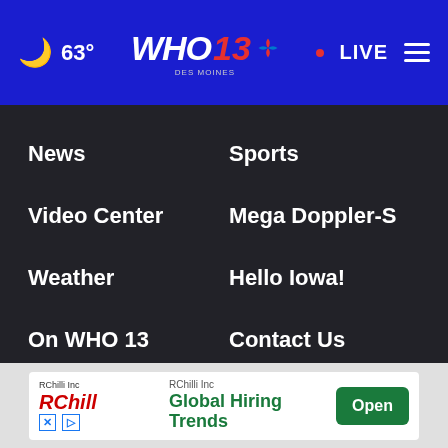🌙 63° | WHO 13 DES MOINES NBC | • LIVE ☰
News
Sports
Video Center
Mega Doppler-S
Weather
Hello Iowa!
On WHO 13
Contact Us
Jobs
Online Public File
Public File Help
WHO EEO (truncated)
[Figure (screenshot): RChilli Inc advertisement banner with 'Global Hiring Trends' text and green Open button]